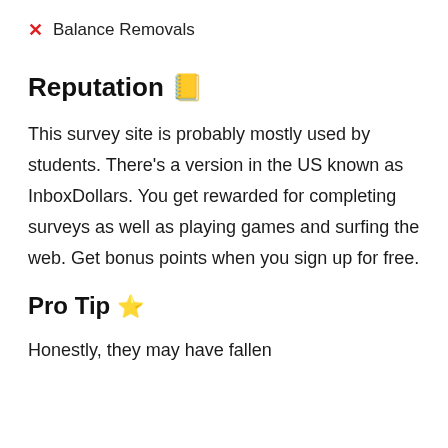✗ Balance Removals
Reputation 📒
This survey site is probably mostly used by students. There's a version in the US known as InboxDollars. You get rewarded for completing surveys as well as playing games and surfing the web. Get bonus points when you sign up for free.
Pro Tip ⭐
Honestly, they may have fallen